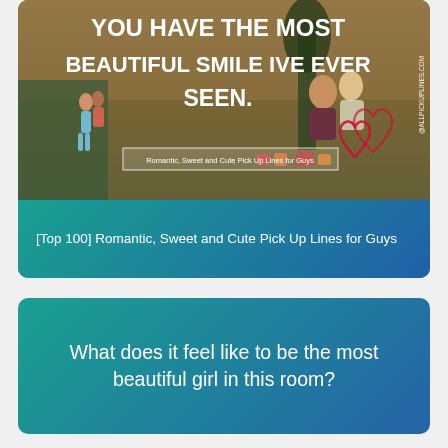[Figure (photo): Romantic scene with couple sitting together in a wheat field and illustrated couple walking, with bold white text overlay reading 'YOU HAVE THE MOST BEAUTIFUL SMILE IVE EVER SEEN.' and watermark '@ALLPICKUPLINES.COM']
[Top 100] Romantic, Sweet and Cute Pick Up Lines for Guys
What does it feel like to be the most beautiful girl in this room?